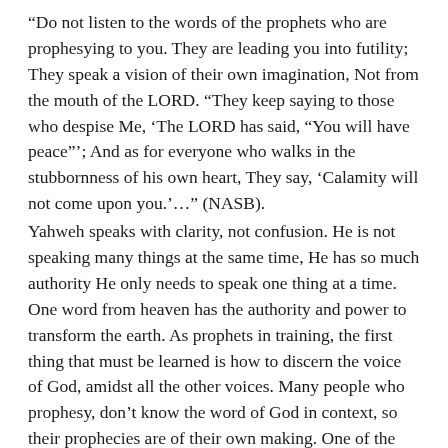“Do not listen to the words of the prophets who are prophesying to you. They are leading you into futility; They speak a vision of their own imagination, Not from the mouth of the LORD. “They keep saying to those who despise Me, ‘The LORD has said, “You will have peace”’; And as for everyone who walks in the stubbornness of his own heart, They say, ‘Calamity will not come upon you.’…” (NASB).
Yahweh speaks with clarity, not confusion. He is not speaking many things at the same time, He has so much authority He only needs to speak one thing at a time. One word from heaven has the authority and power to transform the earth. As prophets in training, the first thing that must be learned is how to discern the voice of God, amidst all the other voices. Many people who prophesy, don’t know the word of God in context, so their prophecies are of their own making. One of the